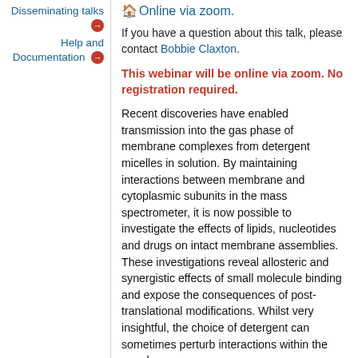Disseminating talks →
Help and Documentation →
🏠 Online via zoom.
If you have a question about this talk, please contact Bobbie Claxton.
This webinar will be online via zoom. No registration required.
Recent discoveries have enabled transmission into the gas phase of membrane complexes from detergent micelles in solution. By maintaining interactions between membrane and cytoplasmic subunits in the mass spectrometer, it is now possible to investigate the effects of lipids, nucleotides and drugs on intact membrane assemblies. These investigations reveal allosteric and synergistic effects of small molecule binding and expose the consequences of post-translational modifications. Whilst very insightful, the choice of detergent can sometimes perturb interactions within the membrane